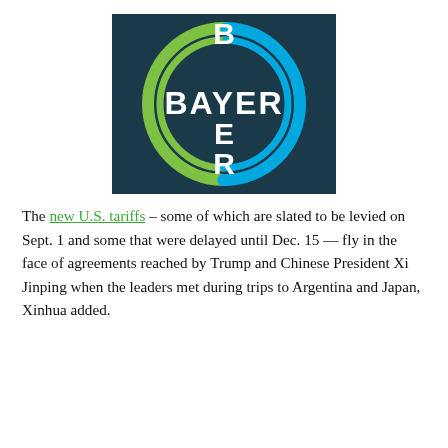[Figure (logo): Bayer AG logo: dark navy/teal background with a green and blue circular ring containing the word BAYER in white arranged as a cross (B at top, BAYER horizontally across the middle, E below, R at bottom)]
The new U.S. tariffs – some of which are slated to be levied on Sept. 1 and some that were delayed until Dec. 15 — fly in the face of agreements reached by Trump and Chinese President Xi Jinping when the leaders met during trips to Argentina and Japan, Xinhua added.